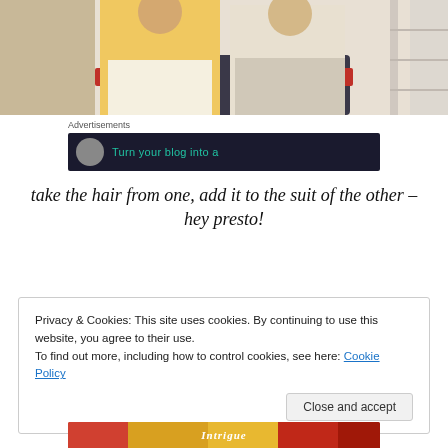[Figure (photo): Two people standing side by side, one wearing a yellow/peach blazer with white trousers, the other in a cream/white suit, in front of a dark background with a car visible]
Advertisements
[Figure (screenshot): Dark advertisement banner with a circular avatar and teal text reading 'Turn your blog into a']
take the hair from one, add it to the suit of the other – hey presto!
Privacy & Cookies: This site uses cookies. By continuing to use this website, you agree to their use.
To find out more, including how to control cookies, see here: Cookie Policy
Close and accept
[Figure (photo): Bottom portion of an advertisement image with colorful graphics and italic text reading 'Intrigue']